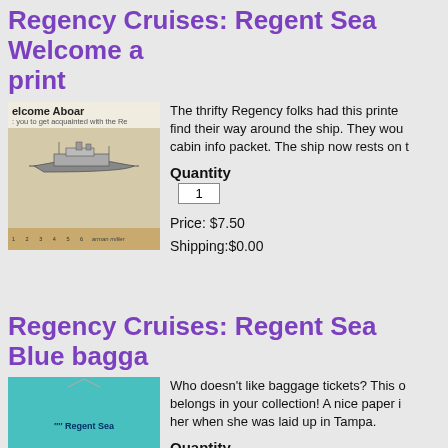Regency Cruises: Regent Sea Welcome aboard print
[Figure (photo): Photo of a Welcome Aboard booklet/print for the Regent Sea ship, shown next to a ruler. Text visible: 'elcome Aboar', 'you to get acquainted with the Re'. Shows a ship line drawing.]
The thrifty Regency folks had this printed to find their way around the ship. They would cabin info packet. The ship now rests on t
Quantity
1
Price: $7.50
Shipping:$0.00
Regency Cruises: Regent Sea Blue bagga
[Figure (photo): Photo of a blue baggage tag/ticket for the Regent Sea cruise ship, shown on a wooden surface next to a ruler. Text visible: 'Regent Sea'.]
Who doesn't like baggage tickets? This o belongs in your collection! A nice paper i her when she was laid up in Tampa.
Quantity
1
Price: $5.00